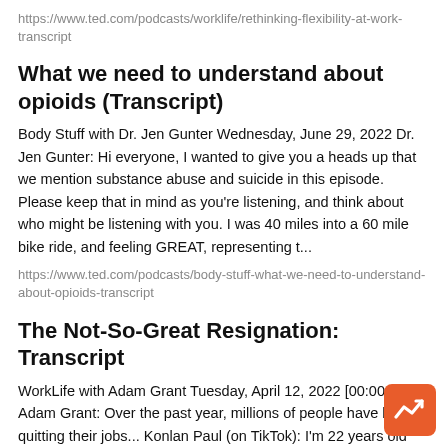https://www.ted.com/podcasts/worklife/rethinking-flexibility-at-work-transcript
What we need to understand about opioids (Transcript)
Body Stuff with Dr. Jen Gunter Wednesday, June 29, 2022 Dr. Jen Gunter: Hi everyone, I wanted to give you a heads up that we mention substance abuse and suicide in this episode. Please keep that in mind as you're listening, and think about who might be listening with you. I was 40 miles into a 60 mile bike ride, and feeling GREAT, representing t...
https://www.ted.com/podcasts/body-stuff-what-we-need-to-understand-about-opioids-transcript
The Not-So-Great Resignation: Transcript
WorkLife with Adam Grant Tuesday, April 12, 2022 [00:00:00] Adam Grant: Over the past year, millions of people have been quitting their jobs... Konlan Paul (on TikTok): I'm 22 years old and I just decided to quit my full time job... Julie (on TikTok): To officially my last day at the toxic corporate job and, no, one